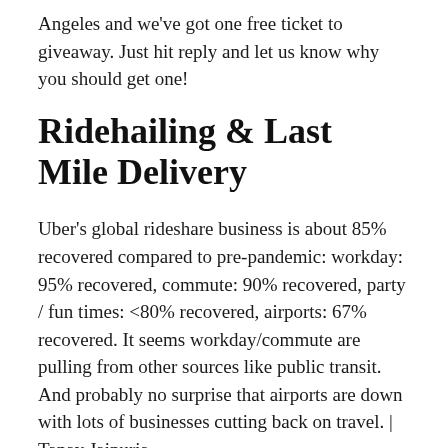Angeles and we've got one free ticket to giveaway. Just hit reply and let us know why you should get one!
Ridehailing & Last Mile Delivery
Uber's global rideshare business is about 85% recovered compared to pre-pandemic: workday: 95% recovered, commute: 90% recovered, party / fun times: <80% recovered, airports: 67% recovered. It seems workday/commute are pulling from other sources like public transit. And probably no surprise that airports are down with lots of businesses cutting back on travel. | Tanay Jaipuria
It's also crazy that Uber has been around for more than